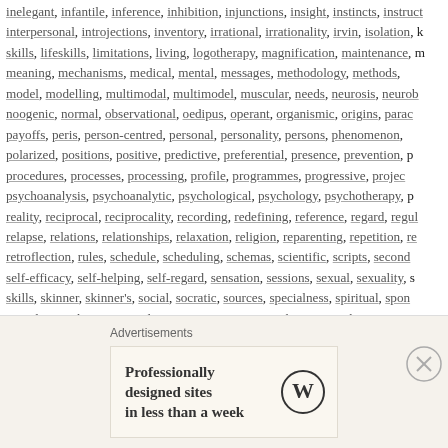inelegant, infantile, inference, inhibition, injunctions, insight, instincts, instruct interpersonal, introjections, inventory, irrational, irrationality, irvin, isolation, k skills, lifeskills, limitations, living, logotherapy, magnification, maintenance, m meaning, mechanisms, medical, mental, messages, methodology, methods, model, modelling, multimodal, multimodel, muscular, needs, neurosis, neurob noogenic, normal, observational, oedipus, operant, organismic, origins, parac payoffs, peris, person-centred, personal, personality, persons, phenomenon, polarized, positions, positive, predictive, preferential, presence, prevention, p procedures, processes, processing, profile, programmes, progressive, projec psychoanalysis, psychoanalytic, psychological, psychology, psychotherapy, p reality, reciprocal, reciprocality, recording, redefining, reference, regard, regul relapse, relations, relationships, relaxation, religion, reparenting, repetition, re retroflection, rules, schedule, scheduling, schemas, scientific, scripts, second self-efficacy, self-helping, self-regard, sensation, sessions, sexual, sexuality, s skills, skinner, skinner's, social, socratic, sources, specialness, spiritual, spon stimulus, strokes, structural, structure, structuring, subception, subjective, sui survival, sympathy, systematic, systems, technical, techniques, tendencies, te theory, thinking, thoughts, threat, thresholds, token, tracking, training, transac transference, triad, triadic, types, ultimate, unconditional, unconscious, vacu vicarious, viewpoint, views, viktor, vocational, vulnerability, warmth, watson, v worth, yalom | Leave a comment
Advertisements
Professionally designed sites in less than a week